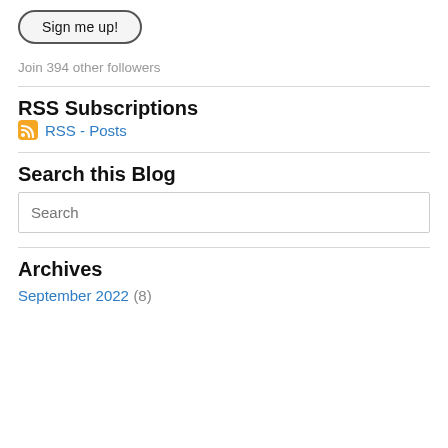Sign me up!
Join 394 other followers
RSS Subscriptions
RSS - Posts
Search this Blog
Search
Archives
September 2022 (8)